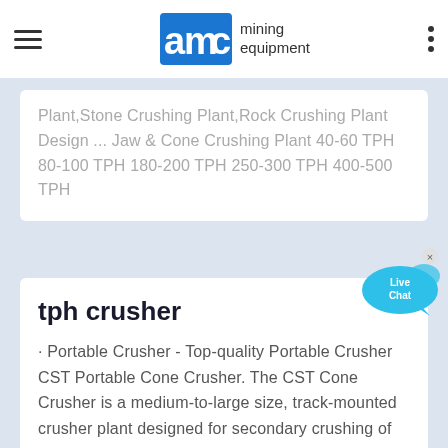AMC mining equipment
Plant,Stone Crushing Plant,Rock Crushing Plant Design ... Jaw & Cone Crushing Plant 40-60 TPH 80-100 TPH 180-200 TPH 250-300 TPH 400-500 TPH
tph crusher
· Portable Crusher - Top-quality Portable Crusher CST Portable Cone Crusher. The CST Cone Crusher is a medium-to-large size, track-mounted crusher plant designed for secondary crushing of hard rock into cubical sizes. Featuring a heavy-built "quarry duty" cone ...